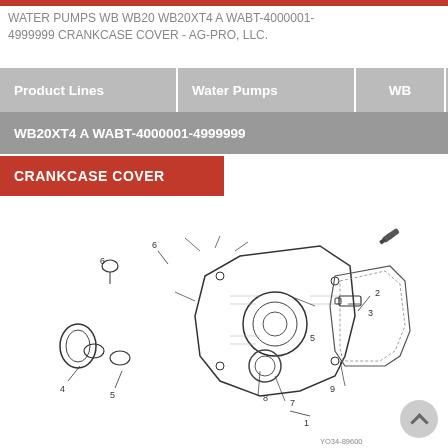WATER PUMPS WB WB20 WB20XT4 A WABT-4000001-4999999 CRANKCASE COVER - AG-PRO, LLC.
Product Lines | Water Pumps | WB | WB20
WB20XT4 A WABT-4000001-4999999
CRANKCASE COVER
[Figure (engineering-diagram): Exploded parts diagram of a crankcase cover assembly for Honda WB20 water pump. Parts are numbered 1–9 with callout lines. Includes the main crankcase cover plate, gasket, seals, bolts, and a separate small fastener shown in upper right. Parts diagram reference number YO34-89600 shown at bottom right.]